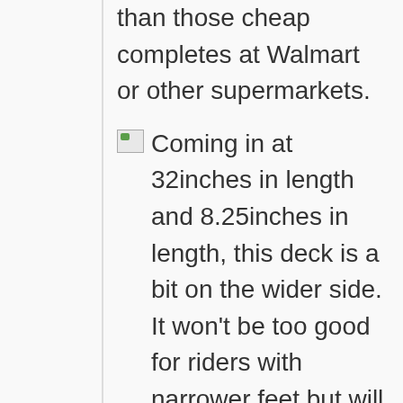than those cheap completes at Walmart or other supermarkets.
Coming in at 32inches in length and 8.25inches in length, this deck is a bit on the wider side. It won't be too good for riders with narrower feet but will be perfect for those with wide ones.
Or rides who just want a more comfortable feeling deck. Like all other enjoi decks, this one is high-quality too. It's made with the same resin 7 construction so it will be durable and strong.